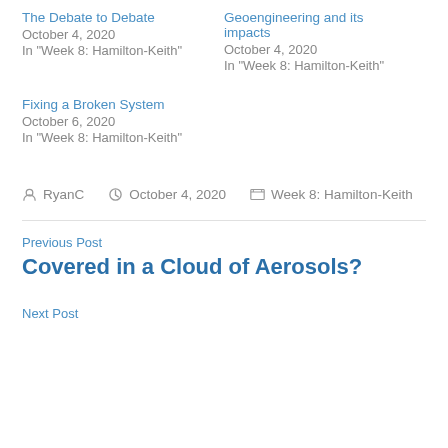The Debate to Debate
October 4, 2020
In "Week 8: Hamilton-Keith"
Geoengineering and its impacts
October 4, 2020
In "Week 8: Hamilton-Keith"
Fixing a Broken System
October 6, 2020
In "Week 8: Hamilton-Keith"
RyanC  October 4, 2020  Week 8: Hamilton-Keith
Previous Post
Covered in a Cloud of Aerosols?
Next Post